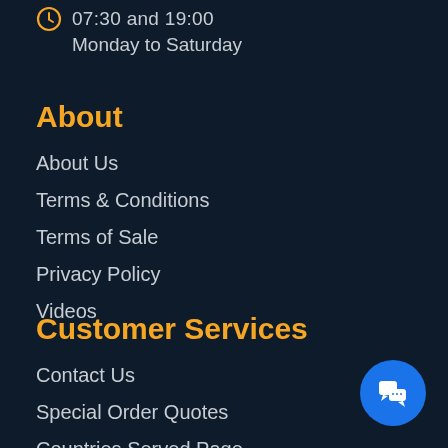07:30 and 19:00
Monday to Saturday
About
About Us
Terms & Conditions
Terms of Sale
Privacy Policy
Videos
Customer Services
Contact Us
Special Order Quotes
Countries Served Page